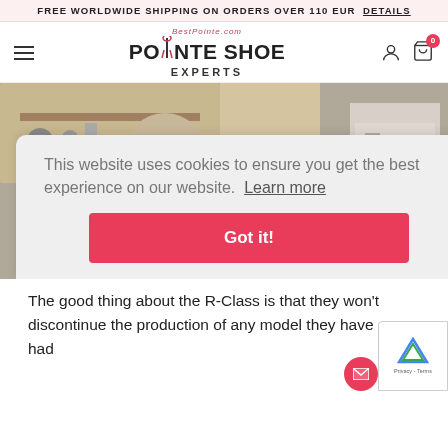FREE WORLDWIDE SHIPPING ON ORDERS OVER 110 EUR DETAILS
BestPointe.com POINTE SHOE EXPERTS
[Figure (photo): A craftsman working with shoe-making machinery in a workshop, with industrial equipment including a JET band saw in the background]
This website uses cookies to ensure you get the best experience on our website. Learn more
Got it!
The good thing about the R-Class is that they won't discontinue the production of any model they have ever had